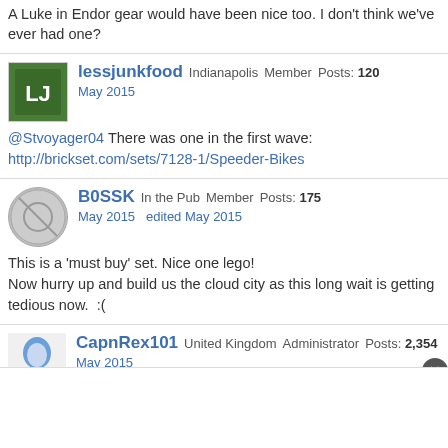A Luke in Endor gear would have been nice too. I don't think we've ever had one?
lessjunkfood Indianapolis Member Posts: 120
May 2015
@Stvoyager04 There was one in the first wave:
http://brickset.com/sets/7128-1/Speeder-Bikes
B0SSK In the Pub Member Posts: 175
May 2015   edited May 2015
This is a 'must buy' set. Nice one lego!
Now hurry up and build us the cloud city as this long wait is getting tedious now.  :(
CapnRex101 United Kingdom Administrator Posts: 2,354
May 2015
I have mixed feelings about this set. I like the design of the fuselage and